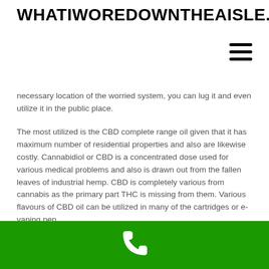WHATIWOREDOWNTHEAISLE.COM
necessary location of the worried system, you can lug it and even utilize it in the public place.
The most utilized is the CBD complete range oil given that it has maximum number of residential properties and also are likewise costly. Cannabidiol or CBD is a concentrated dose used for various medical problems and also is drawn out from the fallen leaves of industrial hemp. CBD is completely various from cannabis as the primary part THC is missing from them. Various flavours of CBD oil can be utilized in many of the cartridges or e-vaping pen.
While CBD does not cross the obstacle and only affects the required area of
[Figure (other): Green footer bar with white phone icon]